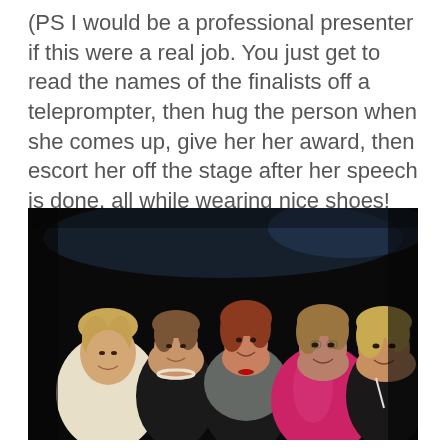(PS I would be a professional presenter if this were a real job. You just get to read the names of the finalists off a teleprompter, then hug the person when she comes up, give her her award, then escort her off the stage after her speech is done, all while wearing nice shoes! Seriously, it was SO FUN.)
[Figure (photo): Group photo of five women dressed in formal/semi-formal attire posing together at what appears to be an awards event or gala. Dark background. Women wearing black, cream, white patterned, and pink satin dresses.]